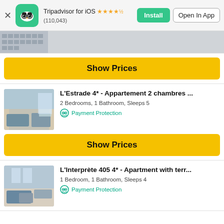Tripadvisor for iOS ★★★★½ (110,043) Install | Open In App
[Figure (photo): Partial photo of apartment building exterior, grayscale/color thumbnail strip]
Show Prices
[Figure (photo): Interior photo of apartment living room with sofa and balcony door]
L&#39;Estrade 4* - Appartement 2 chambres ...
2 Bedrooms, 1 Bathroom, Sleeps 5
Payment Protection
Show Prices
[Figure (photo): Interior photo of apartment with sofa and coffee table]
L&#39;Interprète 405 4* - Apartment with terr...
1 Bedroom, 1 Bathroom, Sleeps 4
Payment Protection